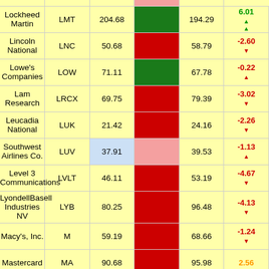| Company | Ticker | Price | Bar | 52W | Change |
| --- | --- | --- | --- | --- | --- |
| Lockheed Martin | LMT | 204.68 |  | 194.29 | 6.01 ▲ |
| Lincoln National | LNC | 50.68 |  | 58.79 | -2.60 ▼ |
| Lowe's Companies | LOW | 71.11 |  | 67.78 | -0.22 ▲ |
| Lam Research | LRCX | 69.75 |  | 79.39 | -3.02 ▼ |
| Leucadia National | LUK | 21.42 |  | 24.16 | -2.26 ▼ |
| Southwest Airlines Co. | LUV | 37.91 |  | 39.53 | -1.13 ▲ |
| Level 3 Communications | LVLT | 46.11 |  | 53.19 | -4.67 ▼ |
| LyondellBasell Industries NV | LYB | 80.25 |  | 96.48 | -4.13 ▼ |
| Macy's, Inc. | M | 59.19 |  | 68.66 | -1.24 ▼ |
| Mastercard | MA | 90.68 |  | 95.98 | 2.56 |